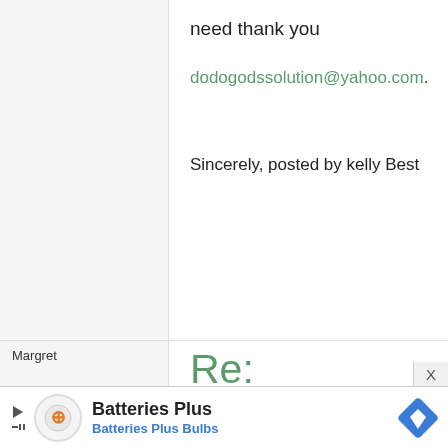need thank you
dodogodssolution@yahoo.com.
Sincerely, posted by kelly Best
Margret
29 July, 2012 - 02:14
permalink
Re: Takoyaki, the great street snack that's fun to make at ...
Hey Maki,
[Figure (screenshot): Batteries Plus advertisement banner with logo, name 'Batteries Plus', subtitle 'Batteries Plus Bulbs', and a blue diamond road sign icon]